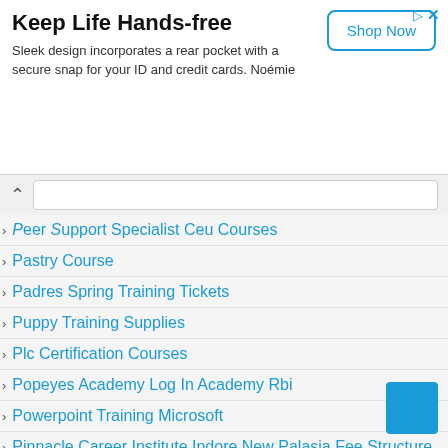[Figure (infographic): Advertisement banner: Keep Life Hands-free. Sleek design incorporates a rear pocket with a secure snap for your ID and credit cards. Noémie. Shop Now button.]
Peer Support Specialist Ceu Courses
Pastry Course
Padres Spring Training Tickets
Puppy Training Supplies
Plc Certification Courses
Popeyes Academy Log In Academy Rbi
Powerpoint Training Microsoft
Pinnacle Career Institute Indore New Palasia Fee Structure
Python Courses
Private Pilot Training Material
Pay Unpaid Tolls Illinois By License Plate